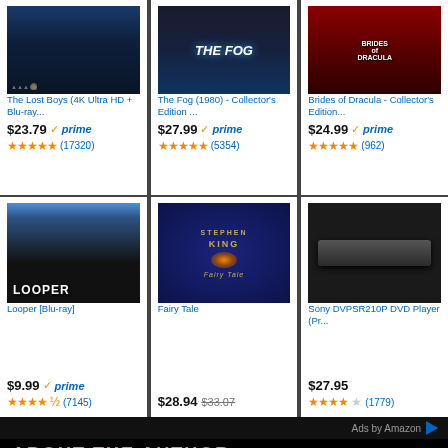[Figure (photo): The Lost Boys 4K Ultra HD + Blu-ray movie cover]
The Lost Boys (4K Ultra HD + Blu-ray...
$23.79 prime
★★★★★ (17320)
[Figure (photo): The Fog (1980) Collector's Edition movie cover]
The Fog (1980) - Collector's Edition ...
$27.99 prime
★★★★★ (5354)
[Figure (photo): Brides of Dracula Collector's Edition movie cover]
Brides of Dracula - Collector's Edition...
$24.99 prime
★★★★★ (962)
[Figure (photo): Looper Blu-ray movie cover]
Looper [Blu-ray]
$9.99 prime
★★★★½ (7145)
[Figure (photo): Fairy Tale by Stephen King book cover]
Fairy Tale
$28.94 $33.07
[Figure (photo): Sony DVPSR210P DVD Player product photo]
Sony DVPSR210P DVD Player (Pr...
$27.95
★★★★☆ (1779)
Ads by Amazon
ABOUT THE AUTHOR